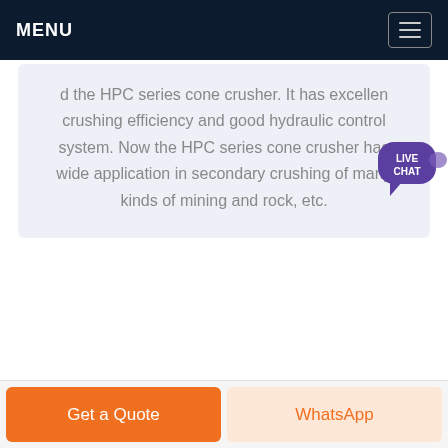MENU
d the HPC series cone crusher. It has excellent crushing efficiency and good hydraulic control system. Now the HPC series cone crusher has wide application in secondary crushing of many kinds of mining and rock, etc.
[Figure (infographic): Live Chat speech bubble icon with teal/purple coloring and text LIVE CHAT]
Get a Quote | WhatsApp